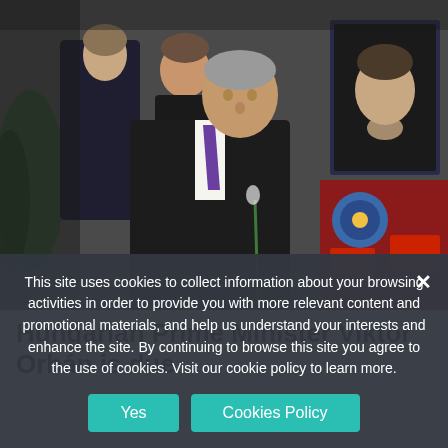[Figure (photo): A man in a dark suit holding a green rose at what appears to be a funeral or memorial service. A framed portrait photo is visible in the background along with decorations. A woman in dark clothing stands behind him.]
Hungarian Prime Minister Viktor Orbán is due
This site uses cookies to collect information about your browsing activities in order to provide you with more relevant content and promotional materials, and help us understand your interests and enhance the site. By continuing to browse this site you agree to the use of cookies. Visit our cookie policy to learn more.